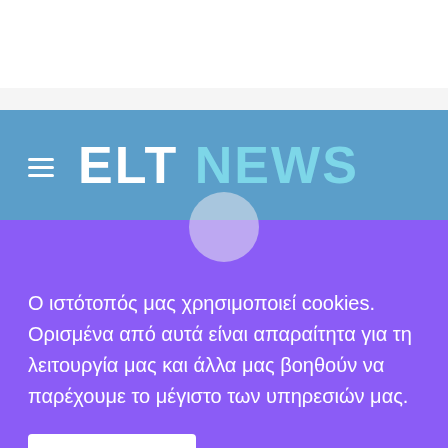[Figure (logo): ELT NEWS logo with hamburger menu icon on blue background bar]
Ο ιστότοπός μας χρησιμοποιεί cookies. Ορισμένα από αυτά είναι απαραίτητα για τη λειτουργία μας και άλλα μας βοηθούν να παρέχουμε το μέγιστο των υπηρεσιών μας.
Αποδέχομαι